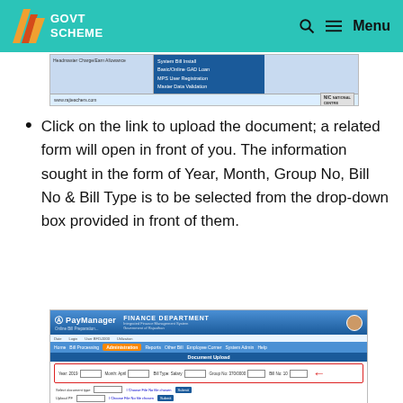GOVT SCHEME
[Figure (screenshot): Screenshot of a government portal website showing a navigation menu with options including System Bill, System/Employee, Bill Type, MPS User Registration, and Master Data Validation. NIC logo visible on right. URL www.rajteachers.com shown.]
Click on the link to upload the document; a related form will open in front of you. The information sought in the form of Year, Month, Group No, Bill No & Bill Type is to be selected from the drop-down box provided in front of them.
[Figure (screenshot): Screenshot of PayManager - Finance Department Online Bill Preparation portal showing Administration menu selected, with a form having fields for Year, Month, Bill Type (Salary), Group No, and Bill No with drop-down selectors. A red arrow points to the form fields.]